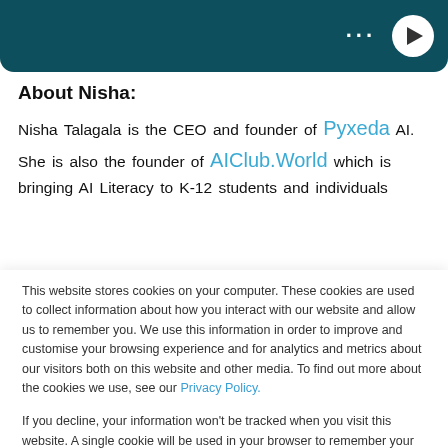[Figure (screenshot): Dark teal video player bar with three dots menu and white circular play button on the right]
About Nisha:
Nisha Talagala is the CEO and founder of Pyxeda AI. She is also the founder of AIClub.World which is bringing AI Literacy to K-12 students and individuals
This website stores cookies on your computer. These cookies are used to collect information about how you interact with our website and allow us to remember you. We use this information in order to improve and customise your browsing experience and for analytics and metrics about our visitors both on this website and other media. To find out more about the cookies we use, see our Privacy Policy.
If you decline, your information won't be tracked when you visit this website. A single cookie will be used in your browser to remember your preference not to be tracked.